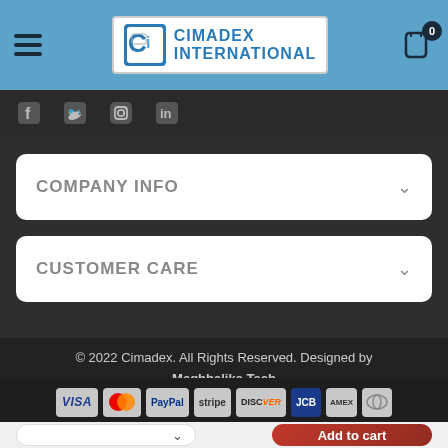CIMADEX INTERNATIONAL
[Figure (logo): Cimadex International logo with CI icon in blue square bracket design]
[Figure (infographic): Social media icons: Facebook, Twitter, Instagram, LinkedIn]
COMPANY INFO
CUSTOMER CARE
© 2022 Cimadex. All Rights Reserved. Designed by Meghbalika Tech
[Figure (infographic): Payment method icons: VISA, Mastercard, PayPal, stripe, DISCOVER, JCB, American Express, Diners Club]
Add to cart